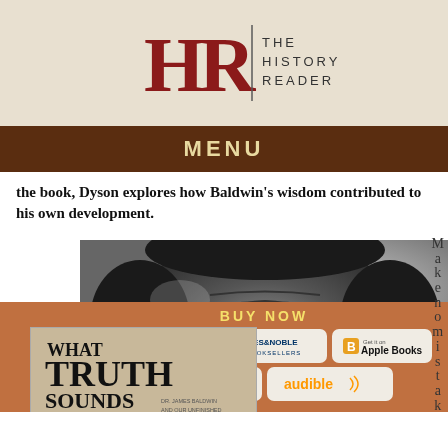HR | THE HISTORY READER
MENU
the book, Dyson explores how Baldwin's wisdom contributed to his own development.
[Figure (photo): Close-up black and white photograph of a person's face, eyes closed, forehead wrinkled]
[Figure (photo): Book cover: What Truth Sounds Like by Michael Eric Dyson]
Make no m is t a k e, n e,
BUY NOW
[Figure (logo): amazon.com logo button]
[Figure (logo): Barnes & Noble Booksellers logo button]
[Figure (logo): Apple Books logo button]
[Figure (logo): Bookshop logo button]
[Figure (logo): Audible logo button]